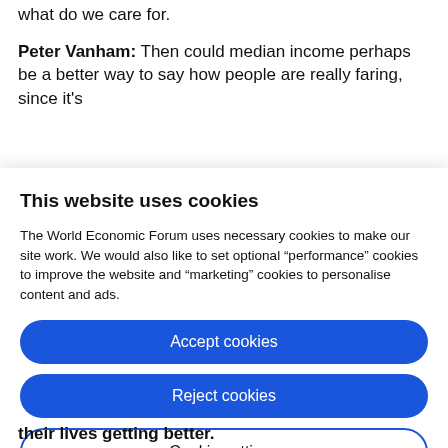what do we care for.
Peter Vanham: Then could median income perhaps be a better way to say how people are really faring, since it's
This website uses cookies
The World Economic Forum uses necessary cookies to make our site work. We would also like to set optional "performance" cookies to improve the website and "marketing" cookies to personalise content and ads.
Accept cookies
Reject cookies
Cookie settings
their lives getting better.